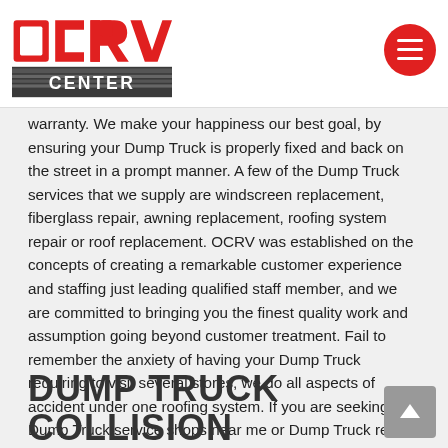OCRV CENTER [logo with menu button]
warranty. We make your happiness our best goal, by ensuring your Dump Truck is properly fixed and back on the street in a prompt manner. A few of the Dump Truck services that we supply are windscreen replacement, fiberglass repair, awning replacement, roofing system repair or roof replacement. OCRV was established on the concepts of creating a remarkable customer experience and staffing just leading qualified staff member, and we are committed to bringing you the finest quality work and assumption going beyond customer treatment. Fail to remember the anxiety of having your Dump Truck requiring to visit several stores, we do all aspects of accident under one roofing system. If you are seeking Dump Truck service shops near me or Dump Truck repair services near me, OCRV has you covered! If you have in fact been in a mishap or need your Dump Truck fixed, contact us today.
DUMP TRUCK COLLISION